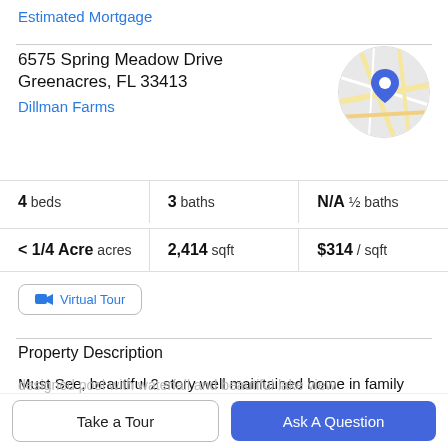Estimated Mortgage
6575 Spring Meadow Drive
Greenacres, FL 33413
Dillman Farms
[Figure (map): Circular map thumbnail showing street map with a blue location pin marker]
4 beds | 3 baths | N/A ½ baths
< 1/4 Acre acres | 2,414 sqft | $314 / sqft
Virtual Tour
Property Description
Must See, beautiful 2 story well maintained home in family oriented, gated community DILLMAN FARMS! High
Take a Tour
Ask A Question